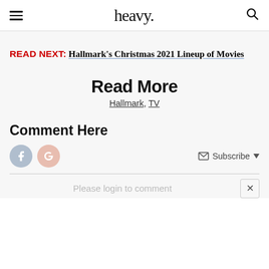heavy.
READ NEXT: Hallmark's Christmas 2021 Lineup of Movies
Read More
Hallmark, TV
Comment Here
Please login to comment